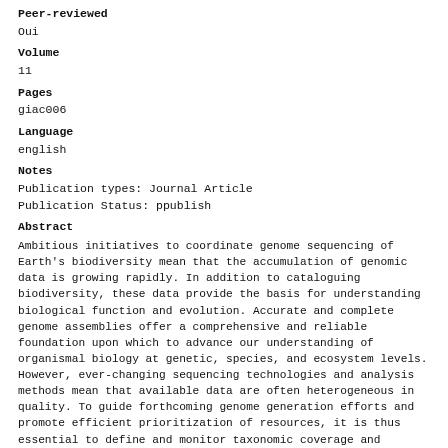Peer-reviewed
Oui
Volume
11
Pages
giac006
Language
english
Notes
Publication types: Journal Article
Publication Status: ppublish
Abstract
Ambitious initiatives to coordinate genome sequencing of Earth's biodiversity mean that the accumulation of genomic data is growing rapidly. In addition to cataloguing biodiversity, these data provide the basis for understanding biological function and evolution. Accurate and complete genome assemblies offer a comprehensive and reliable foundation upon which to advance our understanding of organismal biology at genetic, species, and ecosystem levels. However, ever-changing sequencing technologies and analysis methods mean that available data are often heterogeneous in quality. To guide forthcoming genome generation efforts and promote efficient prioritization of resources, it is thus essential to define and monitor taxonomic coverage and quality of the data.
Here we present an automated analysis workflow that surveys genome assemblies from the United States NCBI, assesses their completeness using the relevant BUSCO datasets, and collates the results into an interactively browsable resource. We apply our workflow to produce a community resource of available assemblies from the phylum